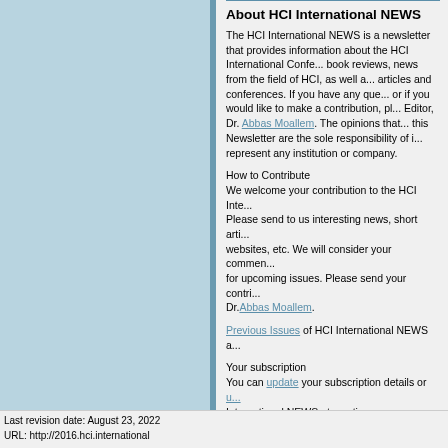About HCI International NEWS
The HCI International NEWS is a newsletter that provides information about the HCI International Conference, book reviews, news from the field of HCI, as well as related articles and conferences. If you have any questions, or if you would like to make a contribution, please contact the Editor, Dr. Abbas Moallem. The opinions that appear in this Newsletter are the sole responsibility of its authors and represent any institution or company.
How to Contribute
We welcome your contribution to the HCI International NEWS. Please send to us interesting news, short articles, websites, etc. We will consider your comments and articles for upcoming issues. Please send your contributions to Dr.Abbas Moallem.
Previous Issues of HCI International NEWS a
Your subscription
You can update your subscription details or u HCI International NEWS at any time.
Links
HCI International 2019 Conference.
Table of Contents
Last revision date: August 23, 2022
URL: http://2016.hci.international